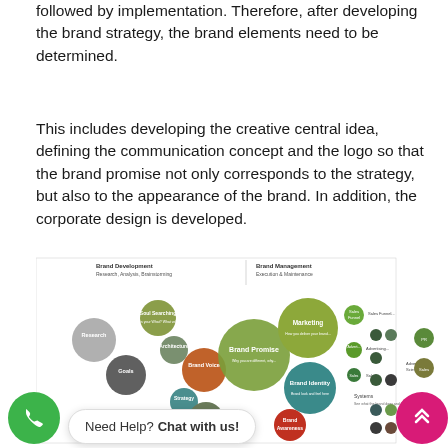followed by implementation. Therefore, after developing the brand strategy, the brand elements need to be determined.
This includes developing the creative central idea, defining the communication concept and the logo so that the brand promise not only corresponds to the strategy, but also to the appearance of the brand. In addition, the corporate design is developed.
[Figure (infographic): A brand development and brand management bubble diagram showing overlapping circles representing: Research, Soul Searching, Architecture, Goals, Brand Voice, Brand Promise, Marketing, Brand Identity, Strategy, Brand Architecture, Brand Awareness, Concept. Labels for 'Brand Development - Research, Analysis, Brainstorming' and 'Brand Management - Execution & Maintenance' appear at top. Various smaller circles and text labels extend to the right with items like Sales Funnel, Advertising, Systems. UI overlay elements include a phone button (green circle), a 'Need Help? Chat with us!' popup, and a scroll-to-top button (magenta circle with chevrons).]